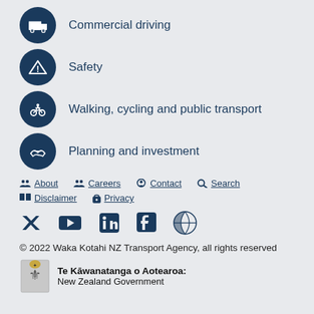Commercial driving
Safety
Walking, cycling and public transport
Planning and investment
About  Careers  Contact  Search  Disclaimer  Privacy
© 2022 Waka Kotahi NZ Transport Agency, all rights reserved
Te Kāwanatanga o Aotearoa: New Zealand Government